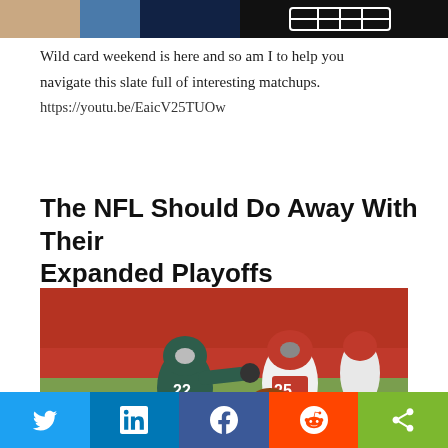[Figure (photo): Partial top banner image showing a person and a football graphic on dark background]
Wild card weekend is here and so am I to help you navigate this slate full of interesting matchups.
https://youtu.be/EaicV25TUOw
The NFL Should Do Away With Their Expanded Playoffs
[Figure (photo): NFL football game action photo showing an Eagles player (#22) in teal uniform attempting to tackle a Buccaneers player (#25) in white uniform carrying the ball, with another player in background, stadium crowd visible]
Twitter | LinkedIn | Facebook | Reddit | Share